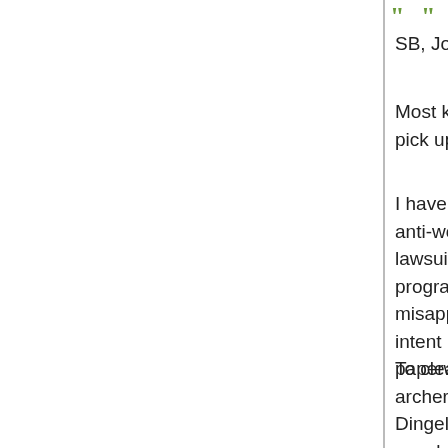[Figure (other): Green quotation mark icon at top of right column]
SB, Jon, and All,
Most know parts of the story, so I will try to pick up the middle …
I have not researched this carefully, but the anti-wolfers are relying on a lawsuit against FW… program chief back… misappropriation of… intent is also to drag… paperwork involving…
To clear the air, P-R… archery equipment,… Dingell-Johnson wh… speaks of P-R he al… my knowledge, inc…
{Beers' entire acco… website at this link activities-by-federa… 10680 It is an intere… some of the history… how your tax dollar…